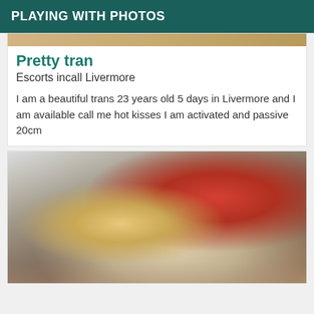PLAYING WITH PHOTOS
[Figure (photo): Partial view of a photo at the top of a listing card, showing a decorative background in warm tones]
Pretty tran
Escorts incall Livermore
I am a beautiful trans 23 years old 5 days in Livermore and I am available call me hot kisses I am activated and passive 20cm
[Figure (photo): Photo of a blonde person wearing a red outfit, posing on a light-colored surface]